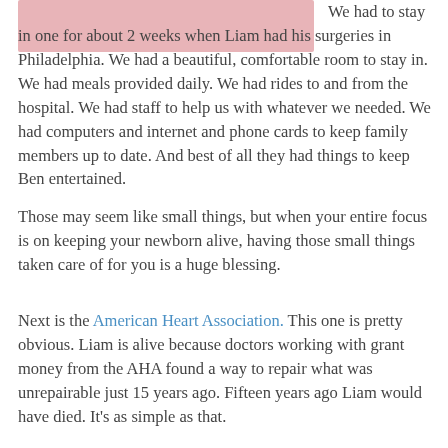[Figure (illustration): A light pink/mauve colored rectangle image at the top left of the page, partially visible, representing a Ronald McDonald House or similar accommodation photo.]
We had to stay in one for about 2 weeks when Liam had his surgeries in Philadelphia. We had a beautiful, comfortable room to stay in. We had meals provided daily. We had rides to and from the hospital. We had staff to help us with whatever we needed. We had computers and internet and phone cards to keep family members up to date. And best of all they had things to keep Ben entertained.
Those may seem like small things, but when your entire focus is on keeping your newborn alive, having those small things taken care of for you is a huge blessing.
Next is the American Heart Association. This one is pretty obvious. Liam is alive because doctors working with grant money from the AHA found a way to repair what was unrepairable just 15 years ago. Fifteen years ago Liam would have died. It's as simple as that.